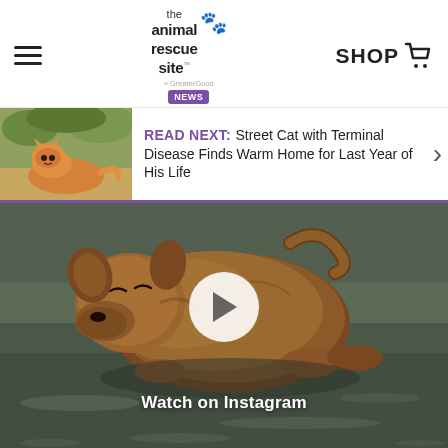The Animal Rescue Site News — SHOP
READ NEXT: Street Cat with Terminal Disease Finds Warm Home for Last Year of His Life
[Figure (photo): Video thumbnail of a brown fluffy dog/puppy lying on a wet surface with a play button overlay and text 'Watch on Instagram']